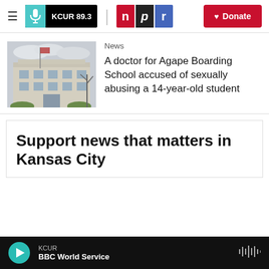KCUR 89.3 | npr | Donate
[Figure (photo): Exterior of a multi-story institutional building with a flag, bare trees, cloudy sky]
News
A doctor for Agape Boarding School accused of sexually abusing a 14-year-old student
Support news that matters in Kansas City
KCUR / BBC World Service (audio player bar)